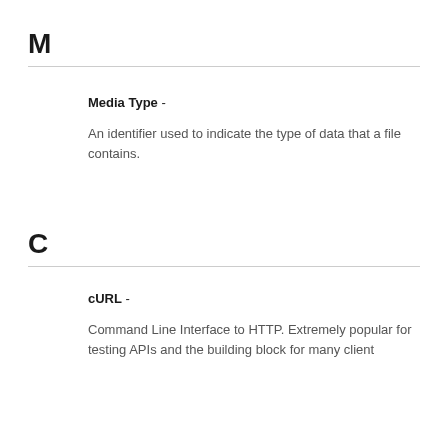M
Media Type -
An identifier used to indicate the type of data that a file contains.
C
cURL -
Command Line Interface to HTTP. Extremely popular for testing APIs and the building block for many client